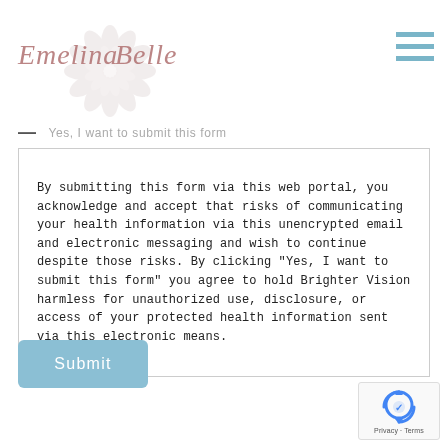[Figure (logo): Emelina Belle logo with decorative mandala/floral watermark and cursive script text]
[Figure (other): Hamburger menu icon (three horizontal teal/blue lines)]
— Yes, I want to submit this form
By submitting this form via this web portal, you acknowledge and accept that risks of communicating your health information via this unencrypted email and electronic messaging and wish to continue despite those risks. By clicking "Yes, I want to submit this form" you agree to hold Brighter Vision harmless for unauthorized use, disclosure, or access of your protected health information sent via this electronic means.
[Figure (other): Submit button - rounded rectangle, light blue/steel color with white text 'Submit']
[Figure (other): Google reCAPTCHA badge bottom right corner with logo and Privacy - Terms text]